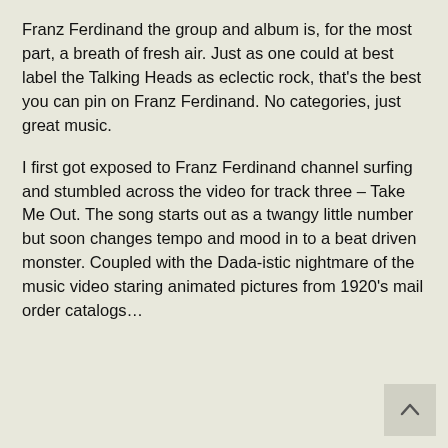Franz Ferdinand the group and album is, for the most part, a breath of fresh air. Just as one could at best label the Talking Heads as eclectic rock, that's the best you can pin on Franz Ferdinand. No categories, just great music.
I first got exposed to Franz Ferdinand channel surfing and stumbled across the video for track three – Take Me Out. The song starts out as a twangy little number but soon changes tempo and mood in to a beat driven monster. Coupled with the Dada-istic nightmare of the music video staring animated pictures from 1920's mail order catalogs…